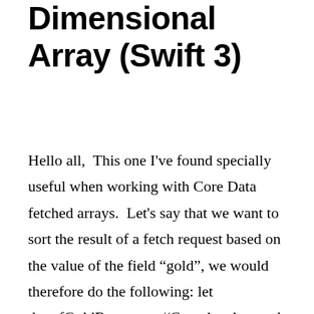Dimensional Array (Swift 3)
Hello all,  This one I've found specially useful when working with Core Data fetched arrays.  Let's say that we want to sort the result of a fetch request based on the value of the field “gold”, we would therefore do the following: let dwarfGoldBags = … //Contains the result of a fetch request with one of the …